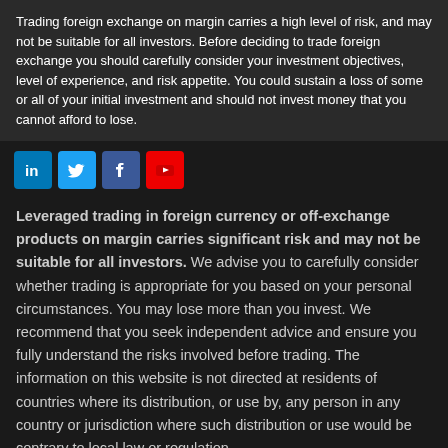Trading foreign exchange on margin carries a high level of risk, and may not be suitable for all investors. Before deciding to trade foreign exchange you should carefully consider your investment objectives, level of experience, and risk appetite. You could sustain a loss of some or all of your initial investment and should not invest money that you cannot afford to lose.
[Figure (illustration): Social media icons row: LinkedIn (blue), Twitter (light blue), Facebook (dark blue), YouTube (red)]
Leveraged trading in foreign currency or off-exchange products on margin carries significant risk and may not be suitable for all investors. We advise you to carefully consider whether trading is appropriate for you based on your personal circumstances. You may lose more than you invest. We recommend that you seek independent advice and ensure you fully understand the risks involved before trading. The information on this website is not directed at residents of countries where its distribution, or use by, any person in any country or jurisdiction where such distribution or use would be contrary to local law or regulation.
IG is a trading name of IG US LLC (a company registered in Delaware under number 6570306). Business address, 1000 West Fulton Street, Chicago, IL 60607. IG is a registered RFED and IB with the Commodities Futures Trading Commission and member